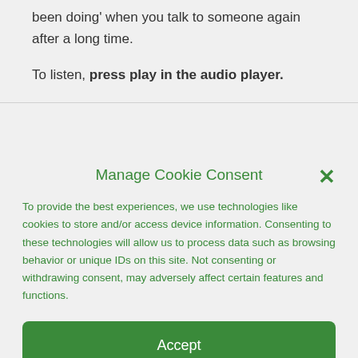been doing' when you talk to someone again after a long time.
To listen, press play in the audio player.
Manage Cookie Consent
To provide the best experiences, we use technologies like cookies to store and/or access device information. Consenting to these technologies will allow us to process data such as browsing behavior or unique IDs on this site. Not consenting or withdrawing consent, may adversely affect certain features and functions.
Accept
Cookie Policy  Privacy Policy